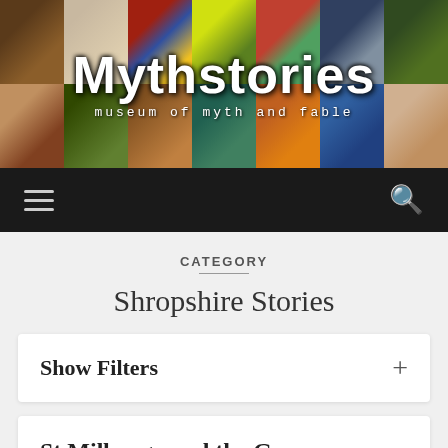[Figure (screenshot): Mythstories museum website header banner with a grid of artwork photos and the Mythstories logo text overlaid, subtitle 'museum of myth and fable']
[Figure (screenshot): Website navigation bar with hamburger menu icon on left and search icon on right, dark background]
CATEGORY
Shropshire Stories
Show Filters +
St Milburga and the Geese